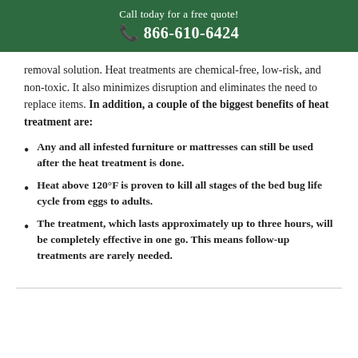Call today for a free quote!
☎ 866-610-6424
removal solution. Heat treatments are chemical-free, low-risk, and non-toxic. It also minimizes disruption and eliminates the need to replace items. In addition, a couple of the biggest benefits of heat treatment are:
Any and all infested furniture or mattresses can still be used after the heat treatment is done.
Heat above 120°F is proven to kill all stages of the bed bug life cycle from eggs to adults.
The treatment, which lasts approximately up to three hours, will be completely effective in one go. This means follow-up treatments are rarely needed.